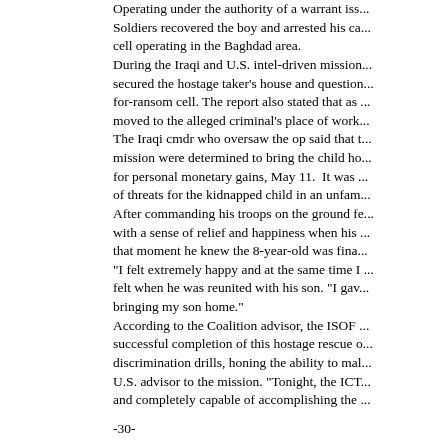Operating under the authority of a warrant iss... Soldiers recovered the boy and arrested his ca... cell operating in the Baghdad area. During the Iraqi and U.S. intel-driven mission... secured the hostage taker's house and question... for-ransom cell. The report also stated that as ... moved to the alleged criminal's place of work... The Iraqi cmdr who oversaw the op said that t... mission were determined to bring the child ho... for personal monetary gains, May 11. It was ... of threats for the kidnapped child in an unfam... After commanding his troops on the ground fe... with a sense of relief and happiness when his ... that moment he knew the 8-year-old was fina... "I felt extremely happy and at the same time I ... felt when he was reunited with his son. "I gav... bringing my son home." According to the Coalition advisor, the ISOF ... successful completion of this hostage rescue o... discrimination drills, honing the ability to mal... U.S. advisor to the mission. "Tonight, the ICT... and completely capable of accomplishing the ...
-30-
Special to American Forces Press Service
Baghdad Maternity Hospital Renovation R
By Kendal Smith